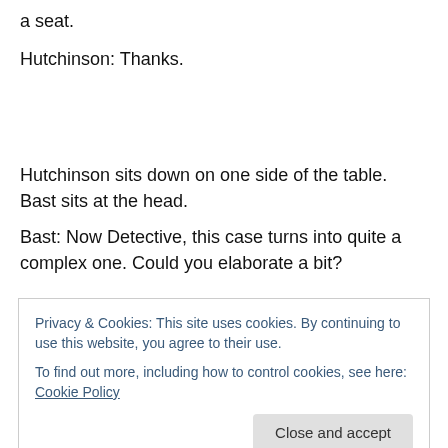a seat.
Hutchinson: Thanks.
Hutchinson sits down on one side of the table. Bast sits at the head.
Bast: Now Detective, this case turns into quite a complex one. Could you elaborate a bit?
Privacy & Cookies: This site uses cookies. By continuing to use this website, you agree to their use.
To find out more, including how to control cookies, see here: Cookie Policy
Bast: Yes. Could you tell me why you went after Robbie